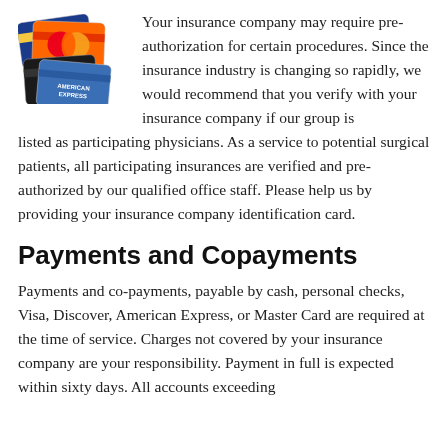[Figure (illustration): Stack of credit card logos: Visa, MasterCard, Discover, and American Express cards]
Your insurance company may require pre-authorization for certain procedures. Since the insurance industry is changing so rapidly, we would recommend that you verify with your insurance company if our group is listed as participating physicians. As a service to potential surgical patients, all participating insurances are verified and pre- authorized by our qualified office staff. Please help us by providing your insurance company identification card.
Payments and Copayments
Payments and co-payments, payable by cash, personal checks, Visa, Discover, American Express, or Master Card are required at the time of service. Charges not covered by your insurance company are your responsibility. Payment in full is expected within sixty days. All accounts exceeding